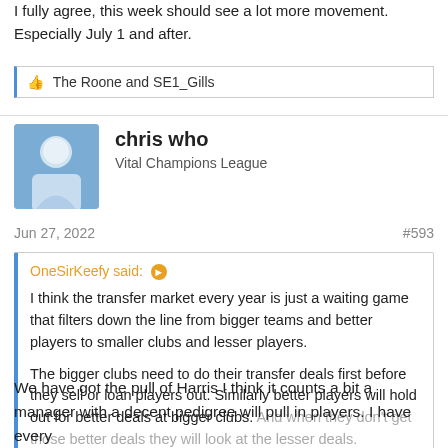I fully agree, this week should see a lot more movement. Especially July 1 and after.
The Roone and SE1_Gills
chris who
Vital Champions League
Jun 27, 2022
#593
OneSirKeefy said:
I think the transfer market every year is just a waiting game that filters down the line from bigger teams and better players to smaller clubs and lesser players.

The bigger clubs need to do their transfer deals first before they sell or loan players out. Similarly better players will hold out for better deals at bigger clubs. And when they don't get those better deals they will look at the lesser deals.
Click to expand...
We have got the pull of Harris I think it counts a bit a manager with a decent pedigree will pull in players. I have every